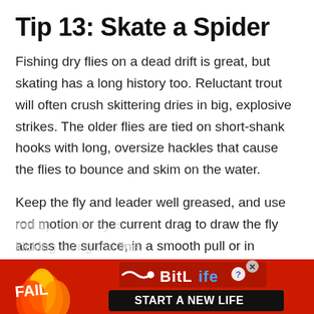Tip 13: Skate a Spider
Fishing dry flies on a dead drift is great, but skating has a long history too. Reluctant trout will often crush skittering dries in big, explosive strikes. The older flies are tied on short-shank hooks with long, oversize hackles that cause the flies to bounce and skim on the water.
Keep the fly and leader well greased, and use rod motion or the current drag to draw the fly across the surface, in a smooth pull or in stuttering twitches.
You can also skate-swing wet flies as well, lifting the rod u[...] ...fly is kickin[...] ...line.
[Figure (screenshot): Advertisement banner at bottom of page: red background with fire and cartoon character, BitLife logo with question mark and X button, 'FAIL' text, 'START A NEW LIFE' text on black button]